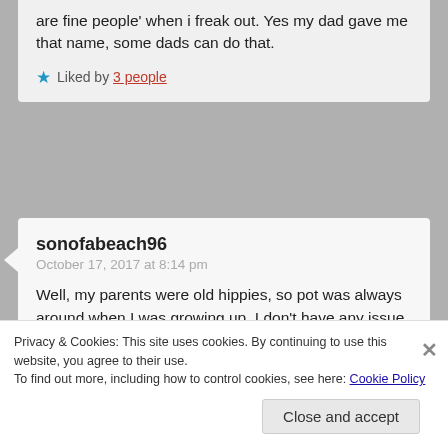are fine people' when i freak out. Yes my dad gave me that name, some dads can do that.
Liked by 3 people
sonofabeach96
October 17, 2017 at 8:14 pm
Well, my parents were old hippies, so pot was always around when I was growing up. I don't have any issue with it at all. I rather somebody smoke pot than drink excessively. To me, it should be legal. But that's for another rant. 😀
Privacy & Cookies: This site uses cookies. By continuing to use this website, you agree to their use. To find out more, including how to control cookies, see here: Cookie Policy
Close and accept